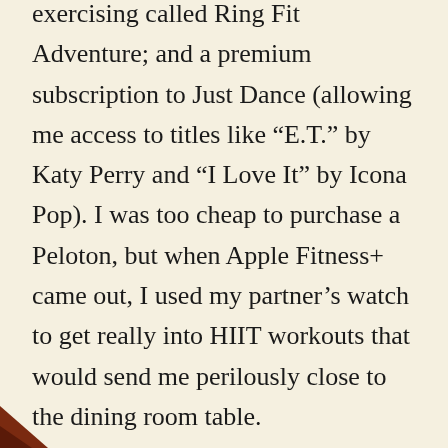exercising called Ring Fit Adventure; and a premium subscription to Just Dance (allowing me access to titles like “E.T.” by Katy Perry and “I Love It” by Icona Pop). I was too cheap to purchase a Peloton, but when Apple Fitness+ came out, I used my partner’s watch to get really into HIIT workouts that would send me perilously close to the dining room table.
From Kim Ngo, a trainer with Apple Fitness+, I absorbed maxims like “you can do anything for five more seconds!” (Weirdly helpful for conceptualizing grief.) Another Apple Fitness+